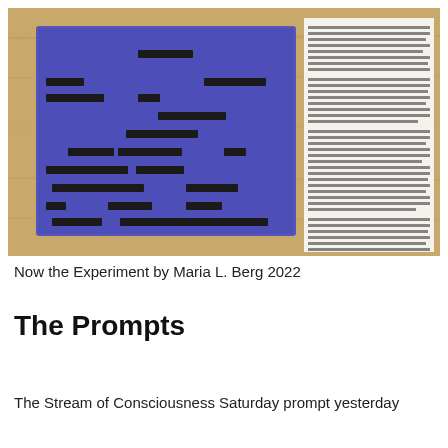[Figure (photo): A photograph showing two items on a wooden table surface: on the left, a blue/purple painted blackout poetry card with visible words cut out and pasted in black strips, and on the right, a partially visible page of printed text from what appears to be a book about Jungian dream interpretation.]
Now the Experiment by Maria L. Berg 2022
The Prompts
The Stream of Consciousness Saturday prompt yesterday